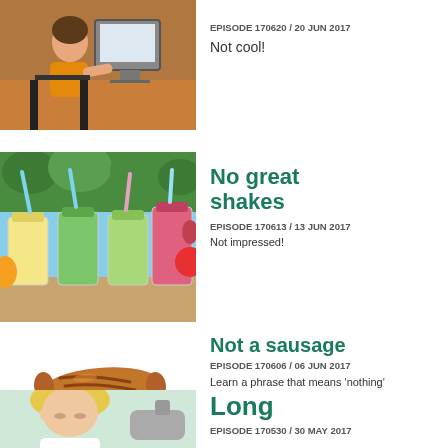[Figure (photo): Person sitting at desk using an old computer]
EPISODE 170620 / 20 JUN 2017
Not cool!
[Figure (photo): Four mason jars with colorful smoothies and fruits/vegetables in background]
No great shakes
EPISODE 170613 / 13 JUN 2017
Not impressed!
[Figure (photo): A grilled sausage on a fork against white background]
Not a sausage
EPISODE 170606 / 06 JUN 2017
Learn a phrase that means 'nothing'
[Figure (photo): Blonde woman looking stressed, holding her forehead, with iron in background]
Long
EPISODE 170530 / 30 MAY 2017